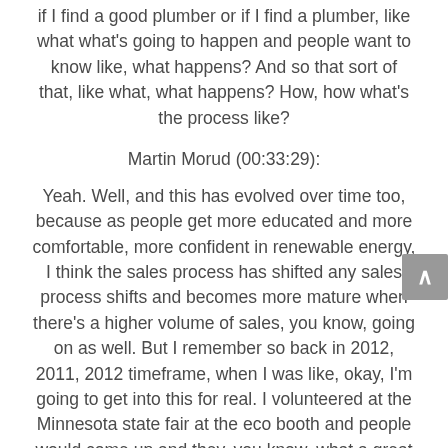if I find a good plumber or if I find a plumber, like what what's going to happen and people want to know like, what happens? And so that sort of that, like what, what happens? How, how what's the process like?
Martin Morud (00:33:29):
Yeah. Well, and this has evolved over time too, because as people get more educated and more comfortable, more confident in renewable energy, I think the sales process has shifted any sales process shifts and becomes more mature when there's a higher volume of sales, you know, going on as well. But I remember so back in 2012, 2011, 2012 timeframe, when I was like, okay, I'm going to get into this for real. I volunteered at the Minnesota state fair at the eco booth and people would come up and they, you know, what a great place to hone in your craft and just talking to people about something, you